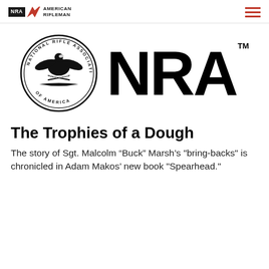NRA AMERICAN RIFLEMAN
[Figure (logo): NRA National Rifle Association of America seal/emblem alongside large bold NRA wordmark with TM symbol]
The Trophies of a Dough
The story of Sgt. Malcolm “Buck” Marsh’s "bring-backs" is chronicled in Adam Makos’ new book "Spearhead."